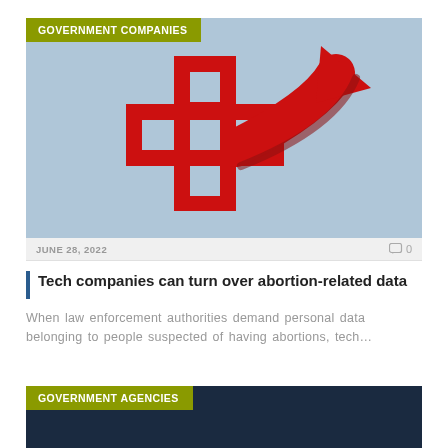[Figure (illustration): Red medical cross with a red arrow curving to the right, on a light blue background. Tag label 'GOVERNMENT COMPANIES' in olive/yellow-green banner at top left.]
JUNE 28, 2022
0
Tech companies can turn over abortion-related data
When law enforcement authorities demand personal data belonging to people suspected of having abortions, tech…
[Figure (illustration): Dark navy background with olive/yellow-green tag label 'GOVERNMENT AGENCIES' at top left.]